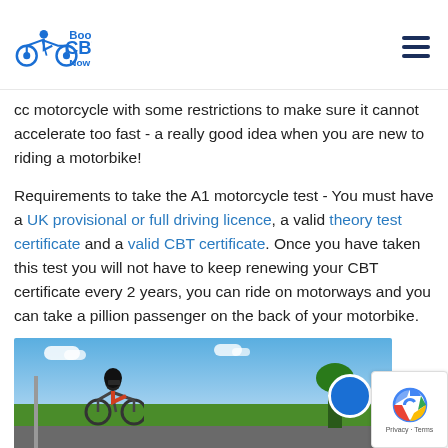Book CBT Now
cc motorcycle with some restrictions to make sure it cannot accelerate too fast - a really good idea when you are new to riding a motorbike!
Requirements to take the A1 motorcycle test - You must have a UK provisional or full driving licence, a valid theory test certificate and a valid CBT certificate. Once you have taken this test you will not have to keep renewing your CBT certificate every 2 years, you can ride on motorways and you can take a pillion passenger on the back of your motorbike.
[Figure (photo): Motorcycle rider on a motorbike outdoors with trees and blue sky in background]